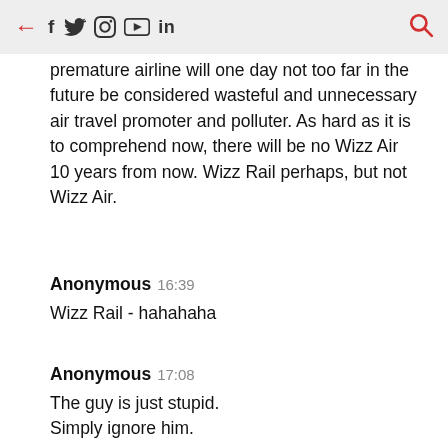← f 𝕏 📷 ▶ in 🔍
premature airline will one day not too far in the future be considered wasteful and unnecessary air travel promoter and polluter. As hard as it is to comprehend now, there will be no Wizz Air 10 years from now. Wizz Rail perhaps, but not Wizz Air.
Anonymous  16:39
Wizz Rail - hahahaha
Anonymous  17:08
The guy is just stupid.
Simply ignore him.